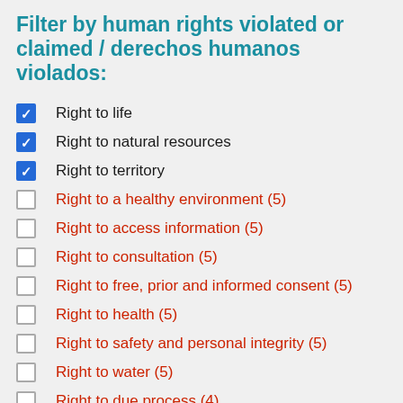Filter by human rights violated or claimed / derechos humanos violados:
Right to life
Right to natural resources
Right to territory
Right to a healthy environment (5)
Right to access information (5)
Right to consultation (5)
Right to free, prior and informed consent (5)
Right to health (5)
Right to safety and personal integrity (5)
Right to water (5)
Right to due process (4)
Right to self-determination (4)
Right to collective property (3)